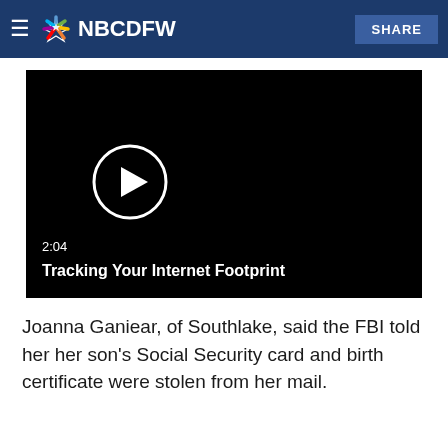NBC DFW — SHARE
ways, including from notes or stealing cards out of mailboxes
[Figure (screenshot): Video player with black background showing a play button circle, duration 2:04, and title 'Tracking Your Internet Footprint']
Joanna Ganiear, of Southlake, said the FBI told her her son's Social Security card and birth certificate were stolen from her mail.